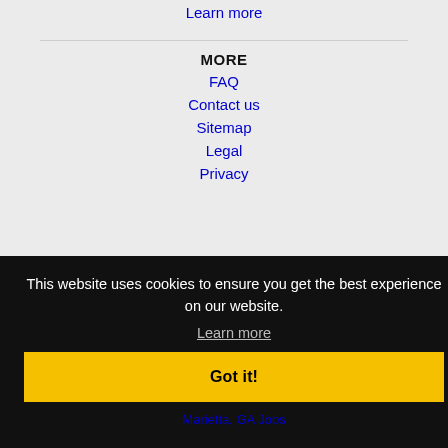Learn more
MORE
FAQ
Contact us
Sitemap
Legal
Privacy
This website uses cookies to ensure you get the best experience on our website.
Learn more
Got it!
Marietta, GA Jobs